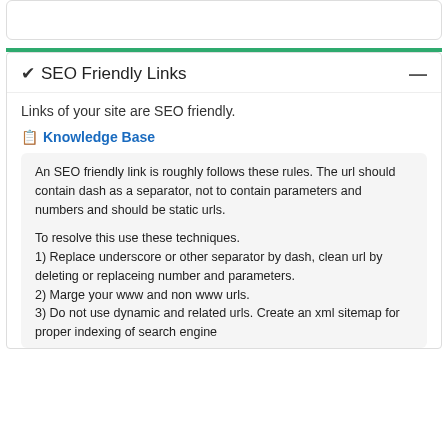✔ SEO Friendly Links
Links of your site are SEO friendly.
📋 Knowledge Base
An SEO friendly link is roughly follows these rules. The url should contain dash as a separator, not to contain parameters and numbers and should be static urls.

To resolve this use these techniques.
1) Replace underscore or other separator by dash, clean url by deleting or replaceing number and parameters.
2) Marge your www and non www urls.
3) Do not use dynamic and related urls. Create an xml sitemap for proper indexing of search engine